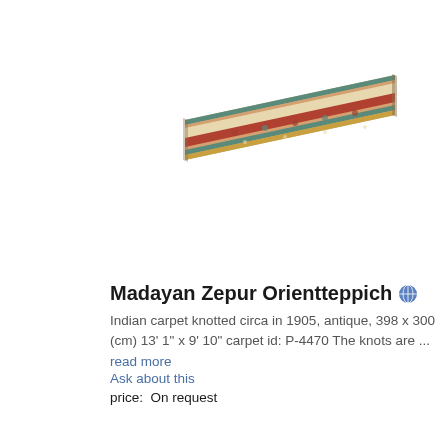[Figure (photo): Photo of an antique Indian Madayan Zepur oriental carpet, shown at an angle. The rug has floral patterns with red, teal/green, beige and gold colors with a decorative border.]
Madayan Zepur Orientteppich
Indian carpet knotted circa in 1905, antique, 398 x 300 (cm) 13' 1" x 9' 10" carpet id: P-4470 The knots are ...
read more
Ask about this
price:  On request